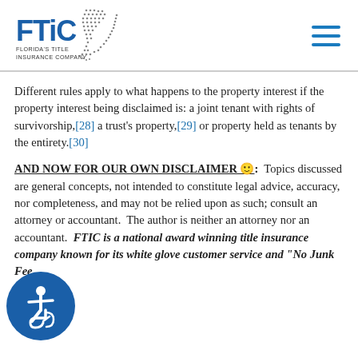[Figure (logo): FTIC Florida's Title Insurance Company logo with Florida state outline made of dots]
Different rules apply to what happens to the property interest if the property interest being disclaimed is: a joint tenant with rights of survivorship,[28] a trust's property,[29] or property held as tenants by the entirety.[30]
AND NOW FOR OUR OWN DISCLAIMER 🙂:  Topics discussed are general concepts, not intended to constitute legal advice, accuracy, nor completeness, and may not be relied upon as such; consult an attorney or accountant.  The author is neither an attorney nor an accountant.  FTIC is a national award winning title insurance company known for its white glove customer service and "No Junk Fee
[Figure (illustration): Accessibility icon - person in wheelchair, white on blue circle background]